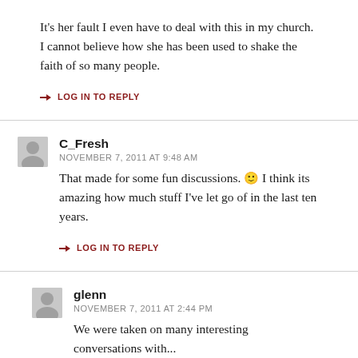It's her fault I even have to deal with this in my church. I cannot believe how she has been used to shake the faith of so many people.
↳ LOG IN TO REPLY
C_Fresh
NOVEMBER 7, 2011 AT 9:48 AM
That made for some fun discussions. 🙂 I think its amazing how much stuff I've let go of in the last ten years.
↳ LOG IN TO REPLY
glenn
NOVEMBER 7, 2011 AT 2:44 PM
We were taken on many interesting conversations with...